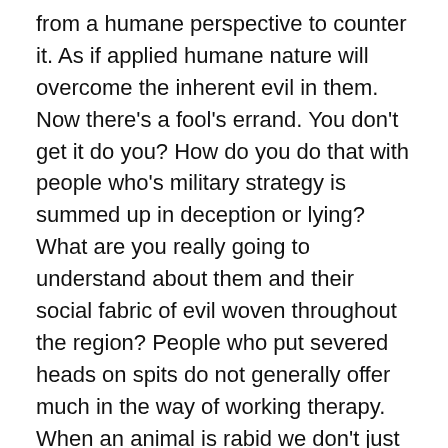from a humane perspective to counter it. As if applied humane nature will overcome the inherent evil in them. Now there’s a fool’s errand. You don’t get it do you? How do you do that with people who’s military strategy is summed up in deception or lying? What are you really going to understand about them and their social fabric of evil woven throughout the region? People who put severed heads on spits do not generally offer much in the way of working therapy. When an animal is rabid we don’t just say let me find out why he got it? The first defense is to destroy it and find out where its been etc. And yes we do understand the disease of rabies and know what it can do, and take precautions.
Handling this as if it were some humanitarian social ill would be a mistake. We know what goes into it. Finally,